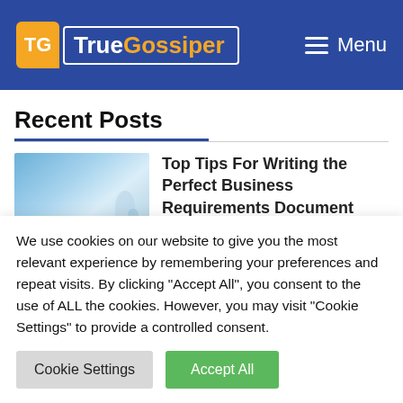TrueGossiper — Menu
Recent Posts
[Figure (photo): Thumbnail image for a blog post about business requirements documents, showing a blue gradient background with a person figure]
Top Tips For Writing the Perfect Business Requirements Document (Template included)
We use cookies on our website to give you the most relevant experience by remembering your preferences and repeat visits. By clicking "Accept All", you consent to the use of ALL the cookies. However, you may visit "Cookie Settings" to provide a controlled consent.
Cookie Settings   Accept All